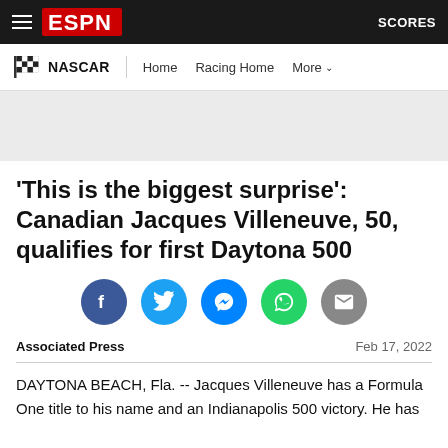ESPN NASCAR Navigation — Home | Racing Home | More | SCORES
'This is the biggest surprise': Canadian Jacques Villeneuve, 50, qualifies for first Daytona 500
[Figure (infographic): Social sharing icons: Facebook, Twitter, Messenger, WhatsApp, Email]
Associated Press   Feb 17, 2022
DAYTONA BEACH, Fla. -- Jacques Villeneuve has a Formula One title to his name and an Indianapolis 500 victory. He has